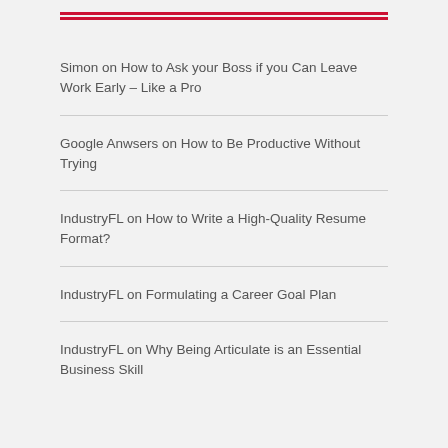Simon on How to Ask your Boss if you Can Leave Work Early – Like a Pro
Google Anwsers on How to Be Productive Without Trying
IndustryFL on How to Write a High-Quality Resume Format?
IndustryFL on Formulating a Career Goal Plan
IndustryFL on Why Being Articulate is an Essential Business Skill